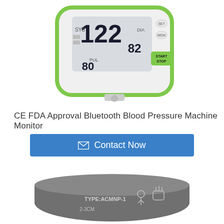[Figure (photo): Blood pressure monitor device with green trim, digital LCD display showing blood pressure and pulse readings, with START/STOP button]
CE FDA Approval Bluetooth Blood Pressure Machine Monitor
[Figure (other): Blue Contact Now button with envelope icon]
[Figure (photo): Gray blood pressure cuff labeled TYPE:ACMNP-1 with measurement markings 2-3CM and hand/person icons]